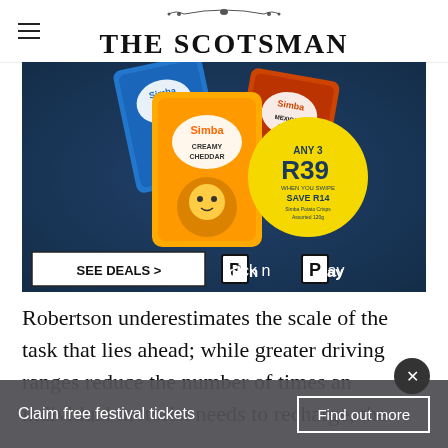THE SCOTSMAN
[Figure (photo): Advertisement for Simba chips with Pick n Pay branding. Shows multiple Simba chip bags (Creamy Cheddar, Salt & Vinegar, Mexican Chilli) on a dark blue background with a yellow promotional circle showing 'ANY 3 R39 WHEN YOU SWIPE SAVE R14 Simba Potato Crisps Assorted 120g'. Below the chips is a 'SEE DEALS >' button and the Pick n Pay logo.]
Robertson underestimates the scale of the task that lies ahead; while greater driving ranges reduce the number of times an individual motorist needs to recharge, the
Claim free festival tickets   Find out more